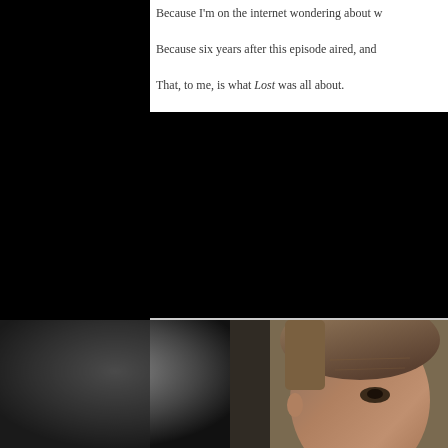Because I'm on the internet wondering about w
Because six years after this episode aired, and
That, to me, is what Lost was all about.
[Figure (photo): Dark left panel (black) and bottom section showing a close-up black-and-white photo on left and a color photo of a man's face with long hair on the right.]